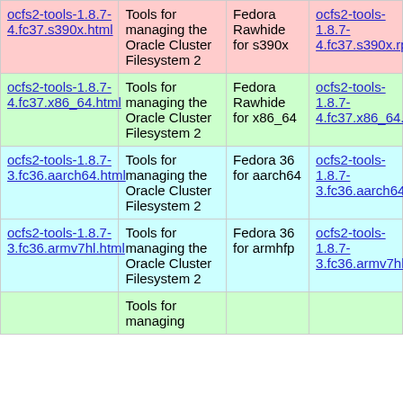| Package | Description | Distribution | Download |
| --- | --- | --- | --- |
| ocfs2-tools-1.8.7-4.fc37.s390x.html | Tools for managing the Oracle Cluster Filesystem 2 | Fedora Rawhide for s390x | ocfs2-tools-1.8.7-4.fc37.s390x.rpm |
| ocfs2-tools-1.8.7-4.fc37.x86_64.html | Tools for managing the Oracle Cluster Filesystem 2 | Fedora Rawhide for x86_64 | ocfs2-tools-1.8.7-4.fc37.x86_64.rpm |
| ocfs2-tools-1.8.7-3.fc36.aarch64.html | Tools for managing the Oracle Cluster Filesystem 2 | Fedora 36 for aarch64 | ocfs2-tools-1.8.7-3.fc36.aarch64.rpm |
| ocfs2-tools-1.8.7-3.fc36.armv7hl.html | Tools for managing the Oracle Cluster Filesystem 2 | Fedora 36 for armhfp | ocfs2-tools-1.8.7-3.fc36.armv7hl.rpm |
|  | Tools for managing |  |  |